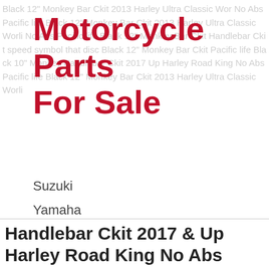Motorcycle Parts For Sale
Suzuki
Yamaha
Kawasaki
Harley Davidson
Harley
Vintage
Handlebar Ckit 2017 & Up Harley Road King No Abs